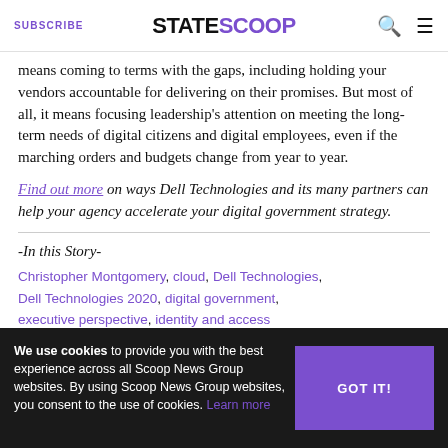SUBSCRIBE | STATESCOOP
means coming to terms with the gaps, including holding your vendors accountable for delivering on their promises. But most of all, it means focusing leadership's attention on meeting the long-term needs of digital citizens and digital employees, even if the marching orders and budgets change from year to year.
Find out more on ways Dell Technologies and its many partners can help your agency accelerate your digital government strategy.
-In this Story-
Christopher Montgomery, cloud, Dell Technologies, Dell Technologies 2020, digital government, executive perspective, identity and access management, IIM, Shared Services, Sponsored Content
We use cookies to provide you with the best experience across all Scoop News Group websites. By using Scoop News Group websites, you consent to the use of cookies. Learn more
RELATED NEWS